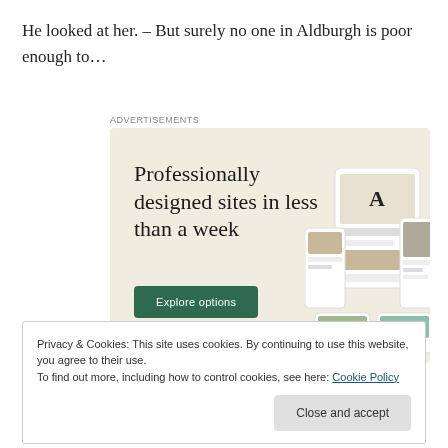He looked at her. – But surely no one in Aldburgh is poor enough to…
[Figure (screenshot): Advertisement banner for a web design service. Shows 'Advertisements' label at top, beige background with headline 'Professionally designed sites in less than a week', a green 'Explore options' button, and mockup screenshots of websites on the right side.]
Privacy & Cookies: This site uses cookies. By continuing to use this website, you agree to their use.
To find out more, including how to control cookies, see here: Cookie Policy
Close and accept